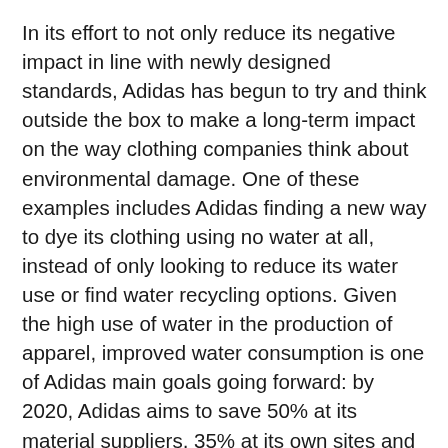In its effort to not only reduce its negative impact in line with newly designed standards, Adidas has begun to try and think outside the box to make a long-term impact on the way clothing companies think about environmental damage. One of these examples includes Adidas finding a new way to dye its clothing using no water at all, instead of only looking to reduce its water use or find water recycling options. Given the high use of water in the production of apparel, improved water consumption is one of Adidas main goals going forward: by 2020, Adidas aims to save 50% at its material suppliers, 35% at its own sites and 20% at their strategic partners compared to current levels. Other examples include the presentation of a shoe made entirely of yarns and filaments reclaimed and recycled from ocean waste and illegal deep-sea gillnets (in collaboration with